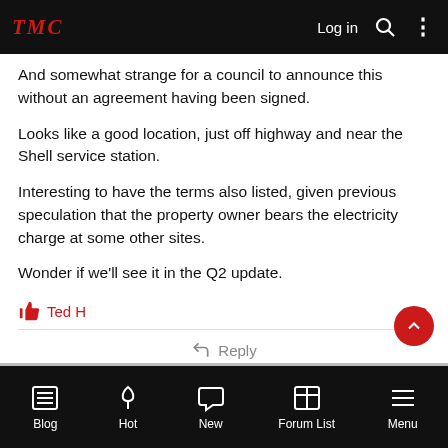TMC  Log in
And somewhat strange for a council to announce this without an agreement having been signed.
Looks like a good location, just off highway and near the Shell service station.
Interesting to have the terms also listed, given previous speculation that the property owner bears the electricity charge at some other sites.
Wonder if we'll see it in the Q2 update.
👍 Ted H
↩ Reply
Blog  Hot  New  Forum List  Menu